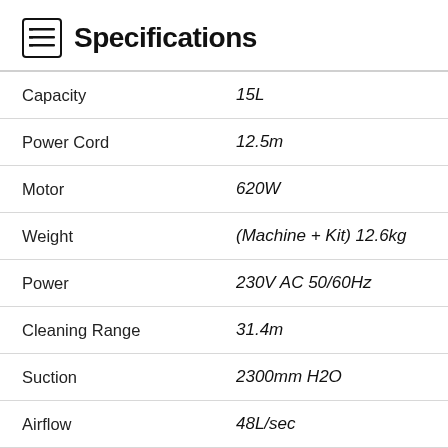Specifications
| Specification | Value |
| --- | --- |
| Capacity | 15L |
| Power Cord | 12.5m |
| Motor | 620W |
| Weight | (Machine + Kit) 12.6kg |
| Power | 230V AC 50/60Hz |
| Cleaning Range | 31.4m |
| Suction | 2300mm H2O |
| Airflow | 48L/sec |
| Dimensions | 355 x 355 x 655mm |